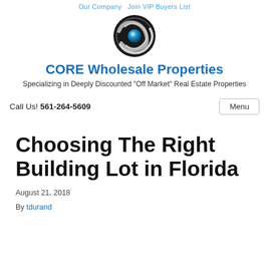Our Company   Join VIP Buyers List
[Figure (logo): CORE Wholesale Properties circular logo with swirling silver/black design and blue center sphere]
CORE Wholesale Properties
Specializing in Deeply Discounted "Off Market" Real Estate Properties
Call Us! 561-264-5609
Choosing The Right Building Lot in Florida
August 21, 2018
By tdurand